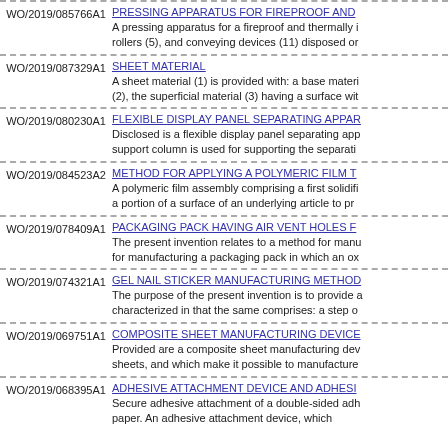WO/2019/085766A1 — PRESSING APPARATUS FOR FIREPROOF AND... A pressing apparatus for a fireproof and thermally i... rollers (5), and conveying devices (11) disposed or...
WO/2019/087329A1 — SHEET MATERIAL A sheet material (1) is provided with: a base materi... (2), the superficial material (3) having a surface wit...
WO/2019/080230A1 — FLEXIBLE DISPLAY PANEL SEPARATING APPAR... Disclosed is a flexible display panel separating app... support column is used for supporting the separati...
WO/2019/084523A2 — METHOD FOR APPLYING A POLYMERIC FILM T... A polymeric film assembly comprising a first solidifi... a portion of a surface of an underlying article to pr...
WO/2019/078409A1 — PACKAGING PACK HAVING AIR VENT HOLES F... The present invention relates to a method for manu... for manufacturing a packaging pack in which an ox...
WO/2019/074321A1 — GEL NAIL STICKER MANUFACTURING METHOD... The purpose of the present invention is to provide a... characterized in that the same comprises: a step o...
WO/2019/069751A1 — COMPOSITE SHEET MANUFACTURING DEVICE... Provided are a composite sheet manufacturing dev... sheets, and which make it possible to manufacture...
WO/2019/068395A1 — ADHESIVE ATTACHMENT DEVICE AND ADHESI... Secure adhesive attachment of a double-sided adh... paper. An adhesive attachment device, which...